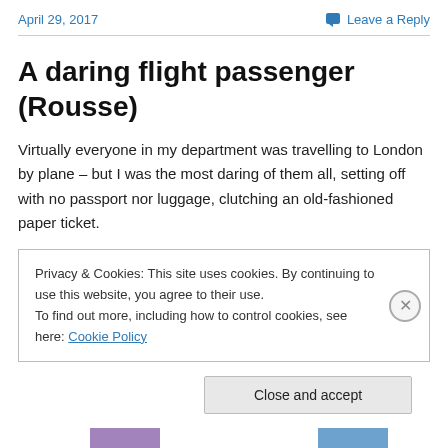April 29, 2017   Leave a Reply
A daring flight passenger (Rousse)
Virtually everyone in my department was travelling to London by plane – but I was the most daring of them all, setting off with no passport nor luggage, clutching an old-fashioned paper ticket.
Privacy & Cookies: This site uses cookies. By continuing to use this website, you agree to their use.
To find out more, including how to control cookies, see here: Cookie Policy
Close and accept